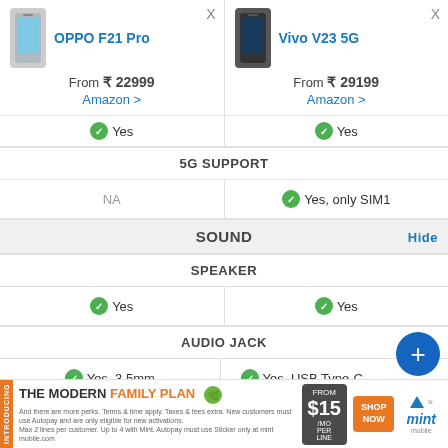| OPPO F21 Pro | Vivo V23 5G |
| --- | --- |
| From ₹ 22999 | Amazon > | From ₹ 29199 | Amazon > |
| Yes | Yes |
| 5G SUPPORT | 5G SUPPORT |
| NA | Yes, only SIM1 |
| SOUND |  |
| SPEAKER | SPEAKER |
| Yes | Yes |
| AUDIO JACK | AUDIO JACK |
| Yes, 3.5mm | Yes, USB Type-C |
| VIDEO PLAYER | VIDEO PLAYER |
[Figure (infographic): Mint Mobile advertisement banner: 'THE MODERN FAMILY PLAN FROM $15/MO PER LINE SHOP NOW']